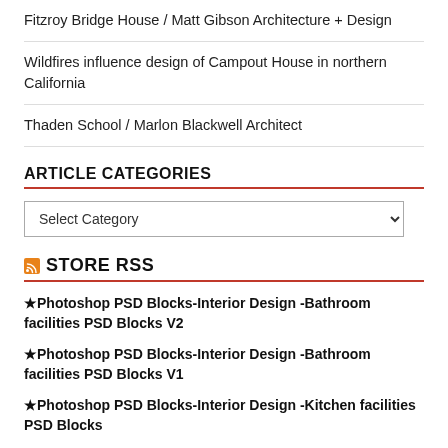Fitzroy Bridge House / Matt Gibson Architecture + Design
Wildfires influence design of Campout House in northern California
Thaden School / Marlon Blackwell Architect
ARTICLE CATEGORIES
Select Category
STORE RSS
★Photoshop PSD Blocks-Interior Design -Bathroom facilities PSD Blocks V2
★Photoshop PSD Blocks-Interior Design -Bathroom facilities PSD Blocks V1
★Photoshop PSD Blocks-Interior Design -Kitchen facilities PSD Blocks
★Photoshop PSD Blocks-Interior Design -Cabinet PSD